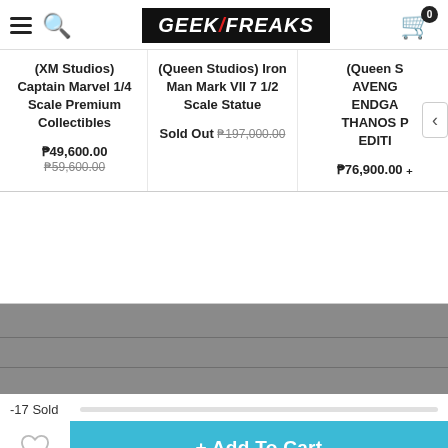GEEK FREAKS
(XM Studios) Captain Marvel 1/4 Scale Premium Collectibles
₱49,600.00 ₱59,600.00
(Queen Studios) Iron Man Mark VII 7 1/2 Scale Statue
Sold Out ₱197,000.00
(Queen Studios) AVENGERS ENDGAME THANOS PREMIUM EDITION (partial)
₱76,900.00 (partial)
-17 Sold
+ Add To Cart